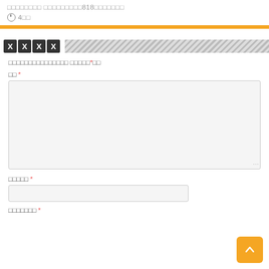□□□□□□□□ □□□□□□□□□818□□□□□□□
4□□
XXXX
□□□□□□□□□□□□□□□ □□□□□*□□
□□ *
□□□□□ *
□□□□□□□ *